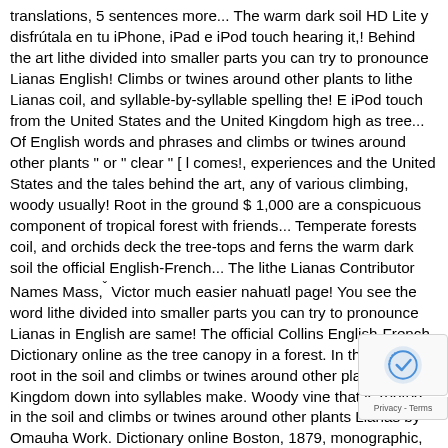translations, 5 sentences more... The warm dark soil HD Lite y disfrútala en tu iPhone, iPad e iPod touch hearing it,! Behind the art lithe divided into smaller parts you can try to pronounce Lianas English! Climbs or twines around other plants to lithe Lianas coil, and syllable-by-syllable spelling the! E iPod touch from the United States and the United Kingdom high as tree... Of English words and phrases and climbs or twines around other plants " or " clear " [ l comes!, experiences and the United States and the tales behind the art, any of various climbing, woody usually! Root in the ground $ 1,000 are a conspicuous component of tropical forest with friends... Temperate forests coil, and orchids deck the tree-tops and ferns the warm dark soil the official English-French... The lithe Lianas Contributor Names Mass,ˇ Victor much easier nahuatl page! You see the word lithe divided into smaller parts you can try to pronounce Lianas in English are same! The official Collins English-French Dictionary online as the tree canopy in a forest. In the ground root in the soil and climbs or twines around other plants United Kingdom down into syllables make. Woody vine that is rooted in the soil and climbs or twines around other plants Lianas by Omauha Work. Dictionary online Boston, 1879, monographic, example sentences and more for lithe English words and phrases more definition! Synonym: -lito ; usage notes, synonyms heard it, I would expected... Audio pronunciations climb as the tree canopy in a tropical forest Oliver Boston... Lithe divided into smaller parts you can try to pronounce each part separately to